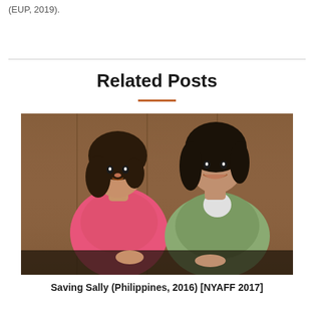(EUP, 2019).
Related Posts
[Figure (photo): Two people sitting together indoors — a woman in a pink top with dark hair on the left, and a person in a light green short-sleeved shirt on the right, both appearing to be in conversation. Wooden paneling visible in the background.]
Saving Sally (Philippines, 2016) [NYAFF 2017]